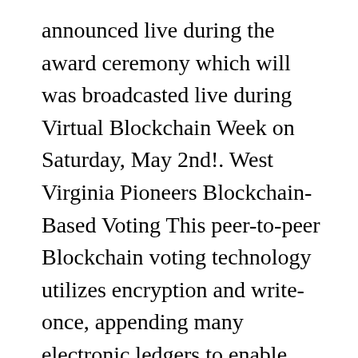announced live during the award ceremony which will was broadcasted live during Virtual Blockchain Week on Saturday, May 2nd!. West Virginia Pioneers Blockchain-Based Voting This peer-to-peer Blockchain voting technology utilizes encryption and write-once, appending many electronic ledgers to enable private and secure registration information and ballots to be transmitted over the internet. Blockchain Voting November 5, 2020 No matter which candidate you voted for in the recent US election, you should be upset at the way votes are cast and counted. A blockchain voting system is a method that enables online voting by employing blockchain technology.